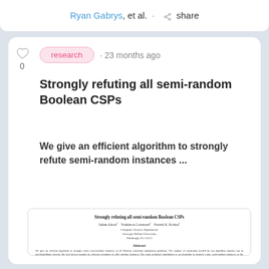Ryan Gabrys, et al. · share
research · 23 months ago
Strongly refuting all semi-random Boolean CSPs
We give an efficient algorithm to strongly refute semi-random instances ...
[Figure (screenshot): Preview of the academic paper 'Strongly refuting all semi-random Boolean CSPs' showing title, authors (Jadam Alaoui, Yonkimou Cottensard, Pratesh K. Kothari), affiliation (Computer Science Department, Carnegie Mellon University, Pittsburgh, PA 15213), and abstract text.]